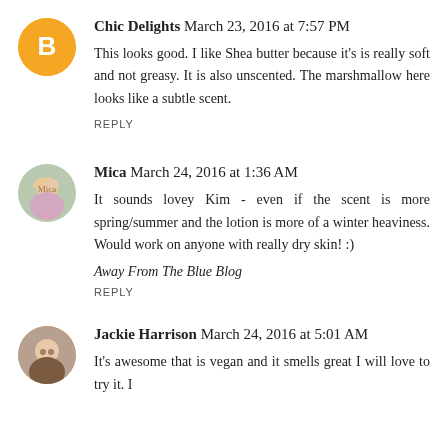[Figure (illustration): Orange circular Blogger avatar icon with white 'B' logo]
Chic Delights  March 23, 2016 at 7:57 PM
This looks good. I like Shea butter because it's is really soft and not greasy. It is also unscented. The marshmallow here looks like a subtle scent.
REPLY
[Figure (photo): Circular avatar photo of a woman with light hair and colorful top]
Mica  March 24, 2016 at 1:36 AM
It sounds lovey Kim - even if the scent is more spring/summer and the lotion is more of a winter heaviness. Would work on anyone with really dry skin! :)
Away From The Blue Blog
REPLY
[Figure (photo): Circular avatar photo of a woman with glasses]
Jackie Harrison  March 24, 2016 at 5:01 AM
It's awesome that is vegan and it smells great I will love to try it. I